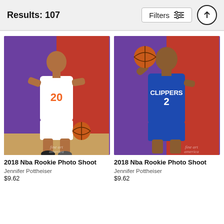Results: 107
[Figure (photo): NBA player in New York Knicks #20 white jersey holding a basketball, standing against purple and red background. Fine Art America watermark visible.]
2018 Nba Rookie Photo Shoot
Jennifer Pottheiser
$9.62
[Figure (photo): NBA player in Los Angeles Clippers #2 blue jersey holding a basketball up near shoulder, against purple and red background. Fine Art America watermark visible.]
2018 Nba Rookie Photo Shoot
Jennifer Pottheiser
$9.62